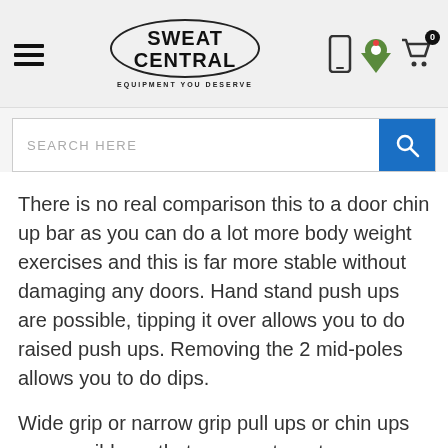SWEAT CENTRAL — EQUIPMENT YOU DESERVE
There is no real comparison this to a door chin up bar as you can do a lot more body weight exercises and this is far more stable without damaging any doors. Hand stand push ups are possible, tipping it over allows you to do raised push ups. Removing the 2 mid-poles allows you to do dips.
Wide grip or narrow grip pull ups or chin ups are possible so that you can target more muscles. Strict muscle ups are also an advanced calisthenic exercise you can do.